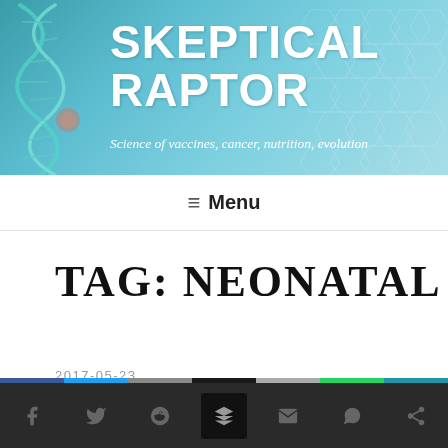[Figure (illustration): Website header banner with DNA helix graphic on left and hexagonal pattern on right, teal/blue gradient background]
SKEPTICAL RAPTOR
Science of vaccines, cancer, nutrition, evolution
≡ Menu
TAG: NEONATAL
2017-05-23
[Figure (infographic): Social sharing bar with colored stripe segments (blue, light blue, gray, black, gray, green, teal) above dark background icons for Facebook, Twitter, Reddit, Buffer/layers, email, WhatsApp, and another sharing option]